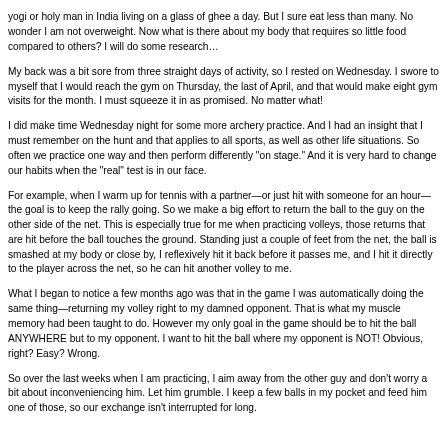yogi or holy man in India living on a glass of ghee a day. But I sure eat less than many. No wonder I am not overweight. Now what is there about my body that requires so little food compared to others? I will do some research…
My back was a bit sore from three straight days of activity, so I rested on Wednesday. I swore to myself that I would reach the gym on Thursday, the last of April, and that would make eight gym visits for the month. I must squeeze it in as promised. No matter what!
I did make time Wednesday night for some more archery practice. And I had an insight that I must remember on the hunt and that applies to all sports, as well as other life situations. So often we practice one way and then perform differently "on stage." And it is very hard to change our habits when the "real" test is in our face.
For example, when I warm up for tennis with a partner—or just hit with someone for an hour—the goal is to keep the rally going. So we make a big effort to return the ball to the guy on the other side of the net. This is especially true for me when practicing volleys, those returns that are hit before the ball touches the ground. Standing just a couple of feet from the net, the ball is smashed at my body or close by, I reflexively hit it back before it passes me, and I hit it directly to the player across the net, so he can hit another volley to me.
What I began to notice a few months ago was that in the game I was automatically doing the same thing—returning my volley right to my damned opponent. That is what my muscle memory had been taught to do. However my only goal in the game should be to hit the ball ANYWHERE but to my opponent. I want to hit the ball where my opponent is NOT! Obvious, right? Easy? Wrong.
So over the last weeks when I am practicing, I aim away from the other guy and don't worry a bit about inconveniencing him. Let him grumble. I keep a few balls in my pocket and feed him one of those, so our exchange isn't interrupted for long.